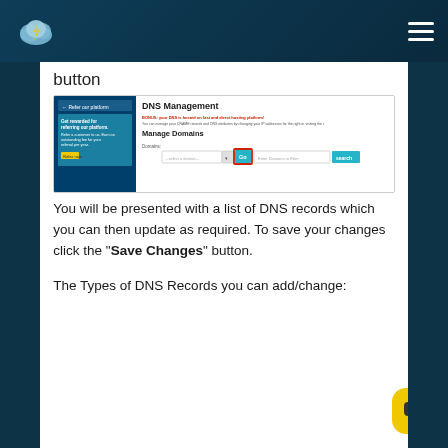button
[Figure (screenshot): Screenshot of a DNS Management panel showing Manage Domains section with a domain input, dropdown, a highlighted 'Go' button in red border, 'Enter Domains to Filter' field, and a 'Search' button.]
You will be presented with a list of DNS records which you can then update as required. To save your changes click the "Save Changes" button.
The Types of DNS Records you can add/change: